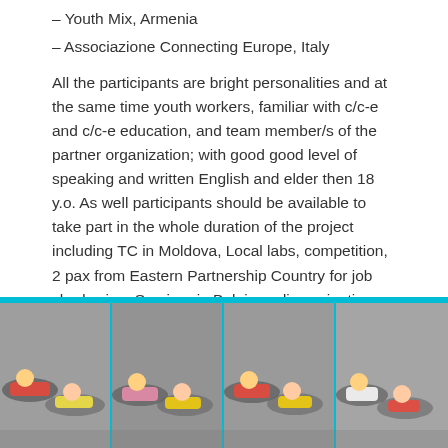– Youth Mix, Armenia
– Associazione Connecting Europe, Italy
All the participants are bright personalities and at the same time youth workers, familiar with c/c-e and c/c-e education, and team member/s of the partner organization; with good good level of speaking and written English and elder then 18 y.o. As well participants should be available to take part in the whole duration of the project including TC in Moldova, Local labs, competition, 2 pax from Eastern Partnership Country for job shadowing, Seminar in Belgium, dissemination and valorization phases.
[Figure (photo): Four panel photo strip showing groups of young people lying on the floor in various poses, apparently participating in a youth activity or exercise session. Teal/cyan colored borders separate each panel.]